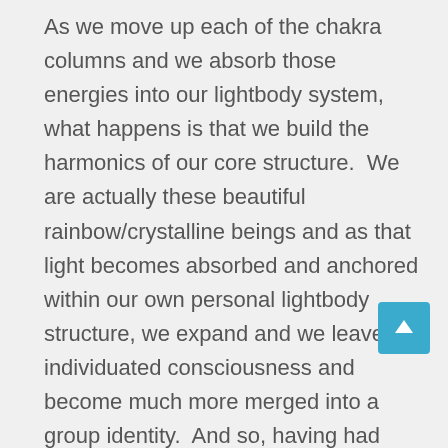As we move up each of the chakra columns and we absorb those energies into our lightbody system, what happens is that we build the harmonics of our core structure.  We are actually these beautiful rainbow/crystalline beings and as that light becomes absorbed and anchored within our own personal lightbody structure, we expand and we leave an individuated consciousness and become much more merged into a group identity.  And so, having had this experience, I do want to share that there is nothing that you lose at all by doing this.  I know that, in the processes earlier for myself when I thought about reincarnation, or multiple identities of myself existing in simultaneous time, it was very hard for my brain to be able to wrap around that.  And, what I have found is that you gain everything